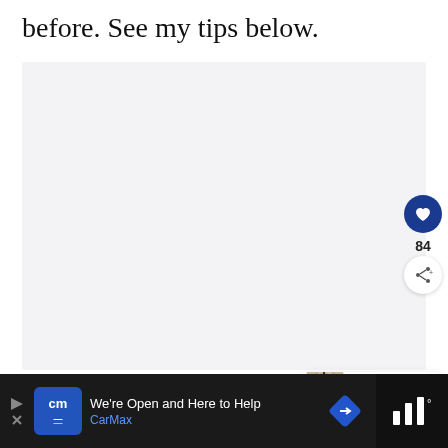before. See my tips below.
[Figure (photo): Large light gray image placeholder area with social action buttons (heart/like and share) on the right side, and a 'What's Next' card showing Steel Cut Oats recipe thumbnail.]
[Figure (infographic): Advertisement bar at bottom: CarMax ad with logo, text 'We're Open and Here to Help', CarMax brand name in blue, a blue road sign icon, and a weather widget on the far right.]